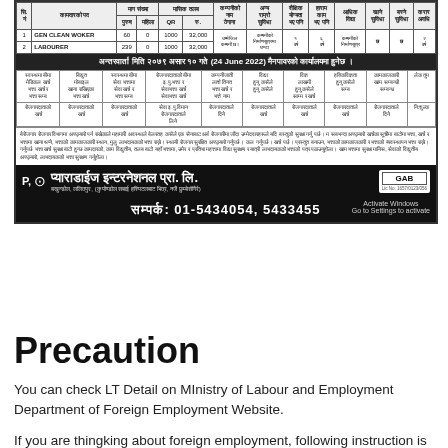[Figure (other): Nepali government job advertisement notice with table of positions (GEN CLEAN WORKER, LABOURER), requirements grid in Nepali, company branding for Paradise International Pvt. Ltd., and contact numbers 01-5434054, 5433455]
Precaution
You can check LT Detail on MInistry of Labour and Employment Department of Foreign Employment Website.
If you are thingking about foreign employment, following instruction is important: